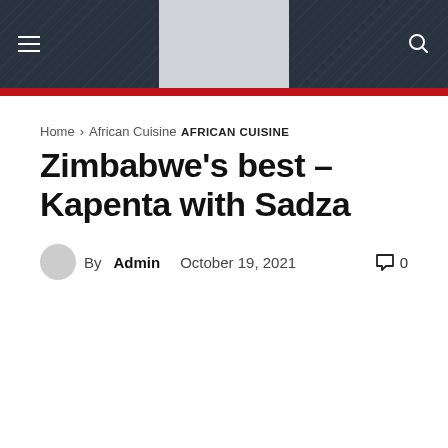[Figure (screenshot): Website header bar with dark navy/slate textured background, hamburger menu icon on the left, light grey rectangular logo placeholder in the center, and a search icon on the right. A red accent bar runs below the header.]
Home › African Cuisine
AFRICAN CUISINE
Zimbabwe's best – Kapenta with Sadza
By Admin   October 19, 2021   0